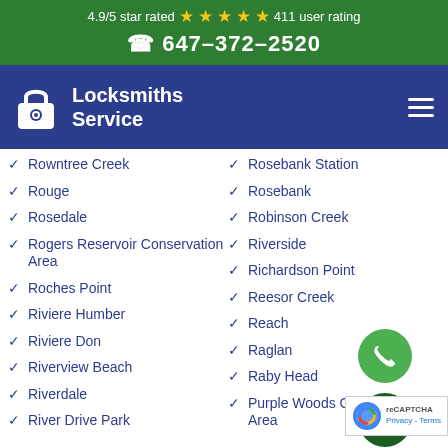4.9/5 star rated ★★★★★ 411 user rating
☎ 647-372-2520
[Figure (logo): Locksmiths Service logo with padlock icon and white text on navy background]
Rowntree Creek
Rosebank Station
Rouge
Rosebank
Rosedale
Robinson Creek
Rogers Reservoir Conservation Area
Riverside
Richardson Point
Roches Point
Reesor Creek
Riviere Humber
Reach
Riviere Don
Raglan
Riverview Beach
Raby Head
Riverdale
Purple Woods Conservation Area
River Drive Park